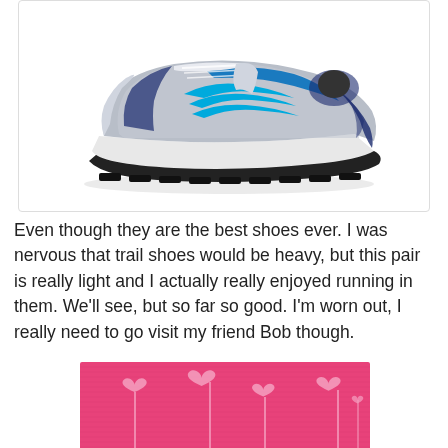[Figure (photo): A Mizuno running shoe (trail shoe) in silver/grey with blue and cyan accents, side profile view on white background]
Even though they are the best shoes ever. I was nervous that trail shoes would be heavy, but this pair is really light and I actually really enjoyed running in them. We'll see, but so far so good. I'm worn out, I really need to go visit my friend Bob though.
[Figure (photo): A pink background with white heart shapes on stems, decorative pattern]